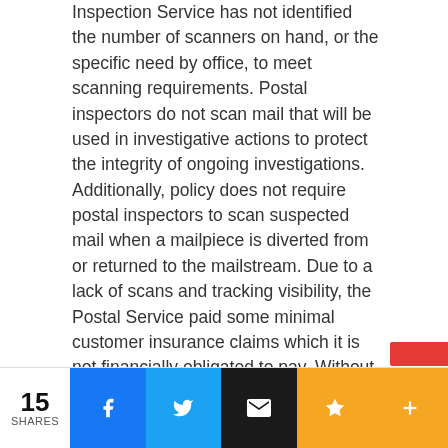Inspection Service has not identified the number of scanners on hand, or the specific need by office, to meet scanning requirements. Postal inspectors do not scan mail that will be used in investigative actions to protect the integrity of ongoing investigations. Additionally, policy does not require postal inspectors to scan suspected mail when a mailpiece is diverted from or returned to the mailstream. Due to a lack of scans and tracking visibility, the Postal Service paid some minimal customer insurance claims which it is not financially obligated to pay. Without tracking visibility, it could encourage loss and theft of mail.
Recommendations
We recommended management: